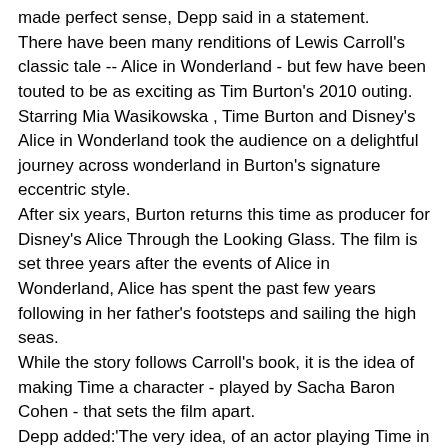made perfect sense, Depp said in a statement.
There have been many renditions of Lewis Carroll's classic tale -- Alice in Wonderland - but few have been touted to be as exciting as Tim Burton's 2010 outing.
Starring Mia Wasikowska , Time Burton and Disney's Alice in Wonderland took the audience on a delightful journey across wonderland in Burton's signature eccentric style.
After six years, Burton returns this time as producer for Disney's Alice Through the Looking Glass. The film is set three years after the events of Alice in Wonderland, Alice has spent the past few years following in her father's footsteps and sailing the high seas.
While the story follows Carroll's book, it is the idea of making Time a character - played by Sacha Baron Cohen - that sets the film apart.
Depp added:'The very idea, of an actor playing Time in an Alice in Wonderland film is magnificent. Truly, the only person you could bring in to play Time is Sacha; and for so many reasons! Because you can have all the expectations in the world and he would do the absolute opposite, which is fantastic because it makes it so wonderful to improvise with him.'